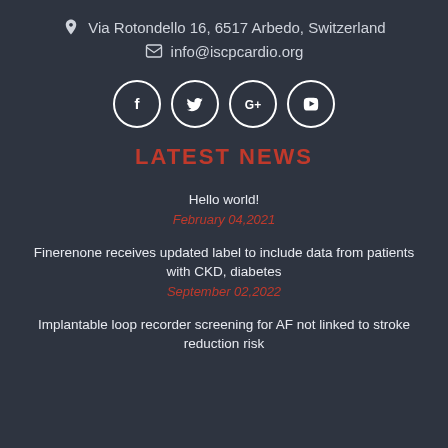Via Rotondello 16, 6517 Arbedo, Switzerland
info@iscpcardio.org
[Figure (other): Social media icons row: Facebook, Twitter, Google+, YouTube — white circles with icons]
LATEST NEWS
Hello world!
February 04,2021
Finerenone receives updated label to include data from patients with CKD, diabetes
September 02,2022
Implantable loop recorder screening for AF not linked to stroke reduction risk